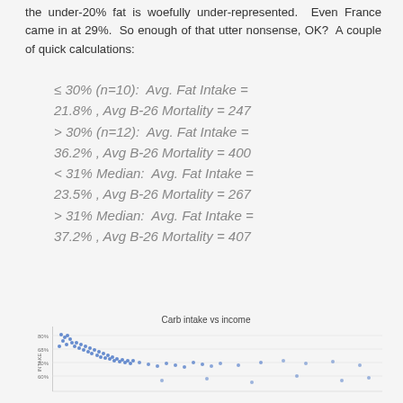the under-20% fat is woefully under-represented. Even France came in at 29%. So enough of that utter nonsense, OK? A couple of quick calculations:
[Figure (continuous-plot): Scatter plot titled 'Carb intake vs income' showing a downward trend of carb intake percentage (y-axis) versus income (x-axis). Dense cluster of blue dots in upper-left area tapering off to right, with scattered points across lower income levels. Y-axis shows percentage values around 50%-80%, x-axis unlabeled.]